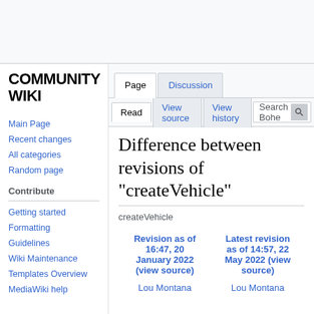COMMUNITY WIKI
Main Page
Recent changes
All categories
Random page
Contribute
Getting started
Formatting
Guidelines
Wiki Maintenance
Templates Overview
MediaWiki help
Difference between revisions of "createVehicle"
createVehicle
| Revision as of 16:47, 20 January 2022 (view source) | Latest revision as of 14:57, 22 May 2022 (view source) |
| --- | --- |
| Lou Montana | Lou Montana |